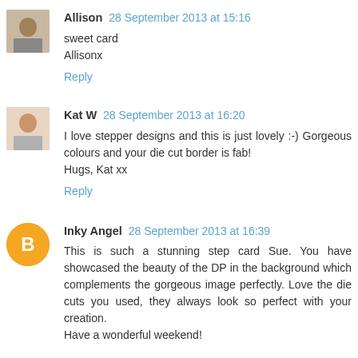[Figure (photo): Small avatar photo of Allison, a woman]
Allison 28 September 2013 at 15:16
sweet card
Allisonx
Reply
[Figure (photo): Small avatar photo of Kat W, a woman]
Kat W 28 September 2013 at 16:20
I love stepper designs and this is just lovely :-) Gorgeous colours and your die cut border is fab!
Hugs, Kat xx
Reply
[Figure (illustration): Orange circle avatar with white Blogger 'B' logo for Inky Angel]
Inky Angel 28 September 2013 at 16:39
This is such a stunning step card Sue. You have showcased the beauty of the DP in the background which complements the gorgeous image perfectly. Love the die cuts you used, they always look so perfect with your creation.
Have a wonderful weekend!